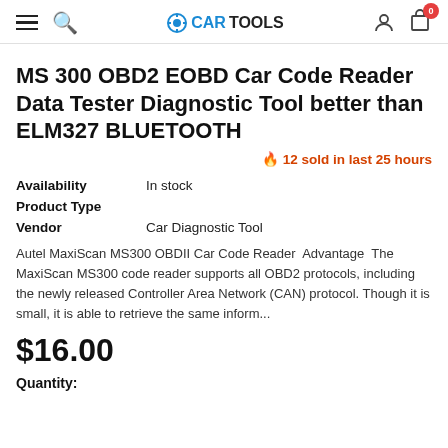CARTOOLS — navigation bar with hamburger, search, logo, user, cart (0)
MS 300 OBD2 EOBD Car Code Reader Data Tester Diagnostic Tool better than ELM327 BLUETOOTH
🔥 12 sold in last 25 hours
| Field | Value |
| --- | --- |
| Availability | In stock |
| Product Type |  |
| Vendor | Car Diagnostic Tool |
Autel MaxiScan MS300 OBDII Car Code Reader  Advantage  The MaxiScan MS300 code reader supports all OBD2 protocols, including the newly released Controller Area Network (CAN) protocol. Though it is small, it is able to retrieve the same inform...
$16.00
Quantity: